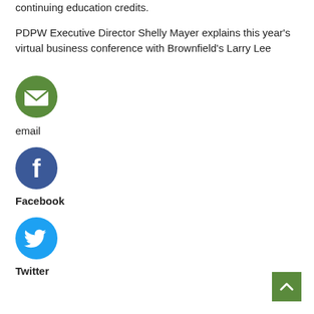continuing education credits.
PDPW Executive Director Shelly Mayer explains this year's virtual business conference with Brownfield's Larry Lee
[Figure (illustration): Green circle icon with white envelope/email symbol]
email
[Figure (illustration): Blue circle icon with white Facebook 'f' logo]
Facebook
[Figure (illustration): Light blue circle icon with white Twitter bird logo]
Twitter